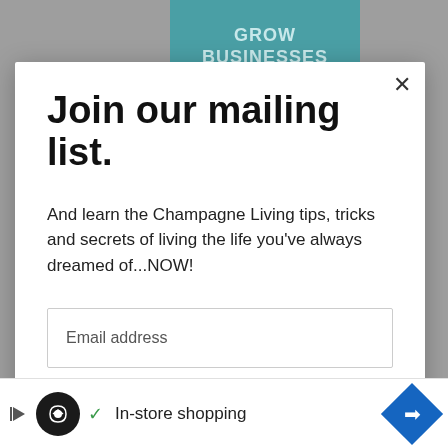[Figure (screenshot): Teal/grey background with partial banner text 'GROW BUSINESSES THROUGH...']
Join our mailing list.
And learn the Champagne Living tips, tricks and secrets of living the life you've always dreamed of...NOW!
Email address
Subscribe
[Figure (screenshot): Advertisement bar at bottom with circular logo, checkmark, 'In-store shopping' text, and blue diamond navigation icon]